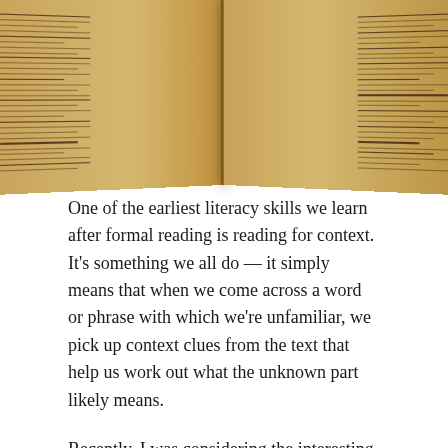[Figure (photo): Close-up photograph of an open antique book showing two pages of dense old-style printed text, with the spine visible in the center and pages curving away on both sides.]
One of the earliest literacy skills we learn after formal reading is reading for context. It's something we all do — it simply means that when we come across a word or phrase with which we're unfamiliar, we pick up context clues from the text that help us work out what the unknown part likely means.
Recently, I was considering the interesting ways in which the presentation of such contexts operate while I was working through various parts of the Norton Anthology of Short Fiction for a class I'm teaching. If you've seen it, you know that the Norton features many footnotes, presumably designed to accomplish its stated aim, which is to "help college level teaching of the